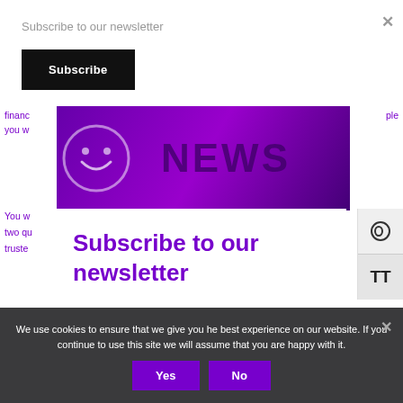Subscribe to our newsletter
Subscribe
[Figure (screenshot): Purple NEWS banner with smiley logo on left and bold 'NEWS' text on right, overlaid by newsletter subscription modal]
financ... people you w...
You w... have two qu... truste...
Subscribe to our newsletter
We use cookies to ensure that we give you he best experience on our website. If you continue to use this site we will assume that you are happy with it.
Yes
No